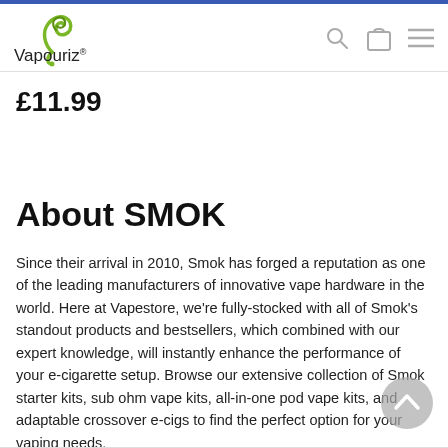[Figure (logo): Vapouriz logo with green swirl icon and text 'Vapouriz®']
£11.99
About SMOK
Since their arrival in 2010, Smok has forged a reputation as one of the leading manufacturers of innovative vape hardware in the world. Here at Vapestore, we're fully-stocked with all of Smok's standout products and bestsellers, which combined with our expert knowledge, will instantly enhance the performance of your e-cigarette setup. Browse our extensive collection of Smok starter kits, sub ohm vape kits, all-in-one pod vape kits, and adaptable crossover e-cigs to find the perfect option for your vaping needs.